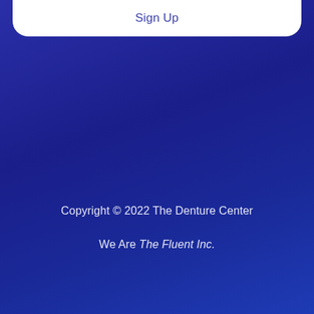Sign Up
Copyright © 2022 The Denture Center
We Are The Fluent Inc.